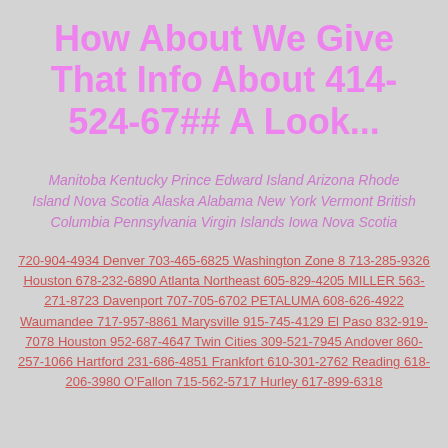How About We Give That Info About 414-524-67## A Look...
Manitoba Kentucky Prince Edward Island Arizona Rhode Island Nova Scotia Alaska Alabama New York Vermont British Columbia Pennsylvania Virgin Islands Iowa Nova Scotia
720-904-4934 Denver 703-465-6825 Washington Zone 8 713-285-9326 Houston 678-232-6890 Atlanta Northeast 605-829-4205 MILLER 563-271-8723 Davenport 707-705-6702 PETALUMA 608-626-4922 Waumandee 717-957-8861 Marysville 915-745-4129 El Paso 832-919-7078 Houston 952-687-4647 Twin Cities 309-521-7945 Andover 860-257-1066 Hartford 231-686-4851 Frankfort 610-301-2762 Reading 618-206-3980 O'Fallon 715-562-5717 Hurley 617-899-6318